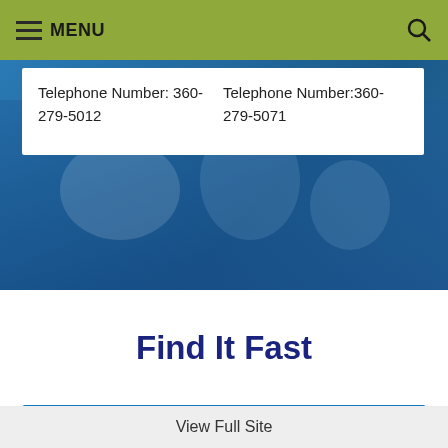MENU
Telephone Number: 360-279-5012
Telephone Number:360-279-5071
Find It Fast
SKYWARD
View Full Site